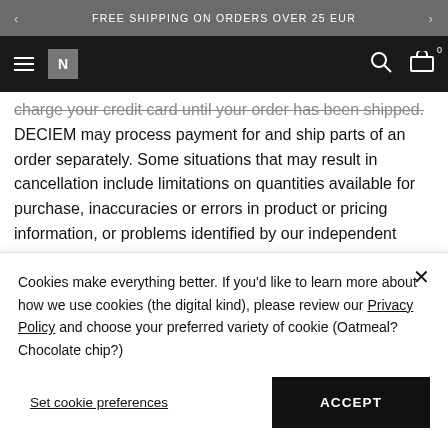FREE SHIPPING ON ORDERS OVER 25 EUR
charge your credit card until your order has been shipped. DECIEM may process payment for and ship parts of an order separately. Some situations that may result in cancellation include limitations on quantities available for purchase, inaccuracies or errors in product or pricing information, or problems identified by our independent third-party payment processor. We will attempt to
Cookies make everything better. If you'd like to learn more about how we use cookies (the digital kind), please review our Privacy Policy and choose your preferred variety of cookie (Oatmeal? Chocolate chip?)
Set cookie preferences
ACCEPT